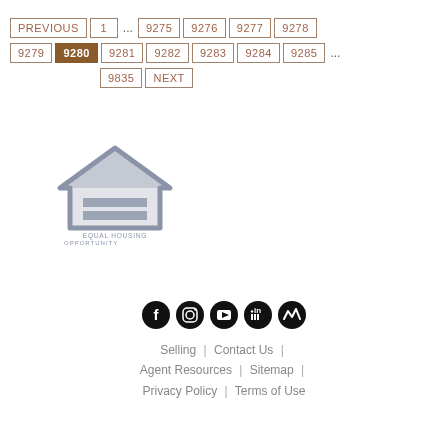Pagination: PREVIOUS | 1 | ... | 9275 | 9276 | 9277 | 9278 | 9279 | 9280 (active) | 9281 | 9282 | 9283 | 9284 | 9285 | ... | 9835 | NEXT
[Figure (logo): Equal Housing Opportunity logo — house outline with horizontal bars inside, grey tones, text 'EQUAL HOUSING OPPORTUNITY' below]
[Figure (infographic): Social media icons row: Facebook, Instagram, YouTube, LinkedIn, and a fifth icon (possibly Zillow or similar), all black circles]
Selling | Contact Us | Agent Resources | Sitemap | Privacy Policy | Terms of Use